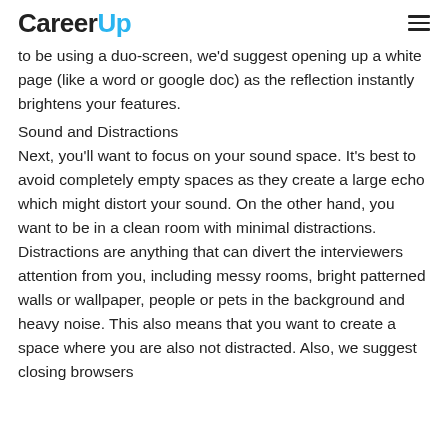CareerUp
to be using a duo-screen, we'd suggest opening up a white page (like a word or google doc) as the reflection instantly brightens your features.
Sound and Distractions
Next, you'll want to focus on your sound space. It's best to avoid completely empty spaces as they create a large echo which might distort your sound. On the other hand, you want to be in a clean room with minimal distractions. Distractions are anything that can divert the interviewers attention from you, including messy rooms, bright patterned walls or wallpaper, people or pets in the background and heavy noise. This also means that you want to create a space where you are also not distracted. Also, we suggest closing browsers